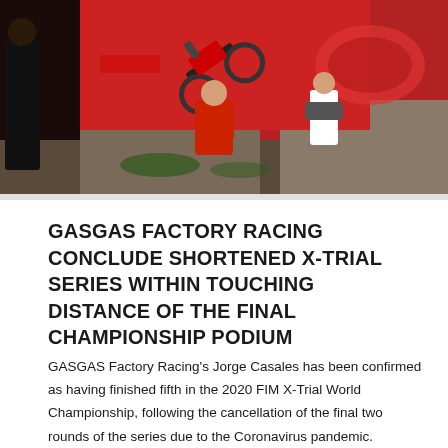[Figure (photo): Action photo of a trial motorcycle rider performing a stunt, with spectators and red/white branded backdrop visible. Another rider in red jersey visible in foreground.]
GASGAS FACTORY RACING CONCLUDE SHORTENED X-TRIAL SERIES WITHIN TOUCHING DISTANCE OF THE FINAL CHAMPIONSHIP PODIUM
GASGAS Factory Racing's Jorge Casales has been confirmed as having finished fifth in the 2020 FIM X-Trial World Championship, following the cancellation of the final two rounds of the series due to the Coronavirus pandemic. Competing in four of the five events held, Jorge's best result